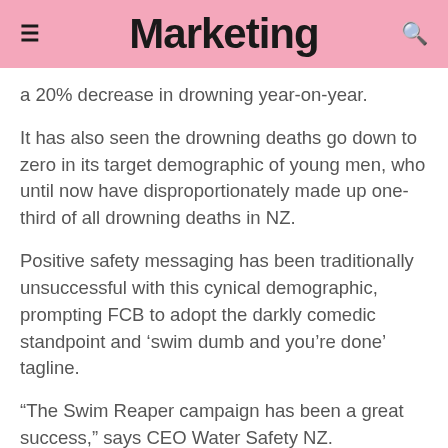Marketing
a 20% decrease in drowning year-on-year.
It has also seen the drowning deaths go down to zero in its target demographic of young men, who until now have disproportionately made up one-third of all drowning deaths in NZ.
Positive safety messaging has been traditionally unsuccessful with this cynical demographic, prompting FCB to adopt the darkly comedic standpoint and ‘swim dumb and you’re done’ tagline.
“The Swim Reaper campaign has been a great success,” says CEO Water Safety NZ.